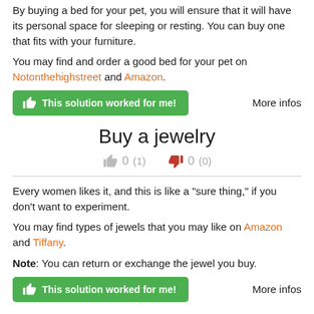By buying a bed for your pet, you will ensure that it will have its personal space for sleeping or resting. You can buy one that fits with your furniture.
You may find and order a good bed for your pet on Notonthehighstreet and Amazon.
This solution worked for me!   More infos
Buy a jewelry
0 (1)  0 (0)
Every women likes it, and this is like a "sure thing," if you don't want to experiment.
You may find types of jewels that you may like on Amazon and Tiffany.
Note: You can return or exchange the jewel you buy.
This solution worked for me!   More infos